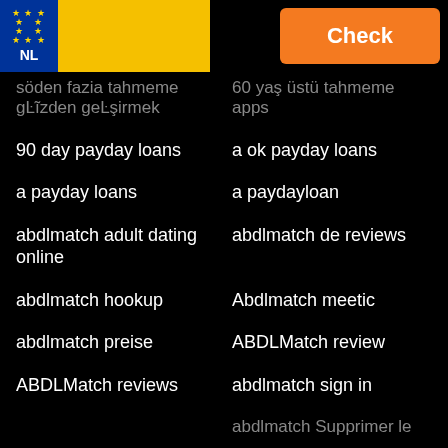[Figure (other): Header with EU/NL flag and orange Check button]
söden fazia tahmeme gözden geçirmek
60 yaş üstü tahmeme apps
90 day payday loans
a ok payday loans
a payday loans
a paydayloan
abdlmatch adult dating online
abdlmatch de reviews
abdlmatch hookup
Abdlmatch meetic
abdlmatch preise
ABDLMatch review
ABDLMatch reviews
abdlmatch sign in
abdlmatch Supprimer le